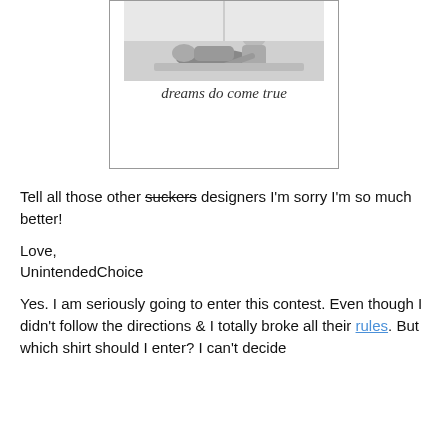[Figure (illustration): Black and white photo of two people (one lying down, one leaning over), with cursive text below reading 'dreams do come true', framed with a border.]
Tell all those other suckers designers I'm sorry I'm so much better!
Love,
UnintendedChoice
Yes. I am seriously going to enter this contest. Even though I didn't follow the directions & I totally broke all their rules. But which shirt should I enter? I can't decide